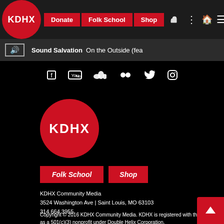[Figure (screenshot): KDHX website navigation bar with logo, Donate, Folk School, Shop buttons and icons]
[Figure (screenshot): Audio player bar showing Sound Salvation - On the Outside (fea)]
[Figure (screenshot): Social media icons row: Facebook, YouTube, SoundCloud, Flickr, Twitter, Instagram]
[Figure (logo): KDHX red circle logo, large version]
Folk School  Shop
KDHX Community Media
3524 Washington Ave | Saint Louis, MO 63103
314.664.3955
Copyright © 2016 KDHX Community Media. KDHX is registered with the IRS as a 501(c)(3) nonprofit under Double Helix Corporation.